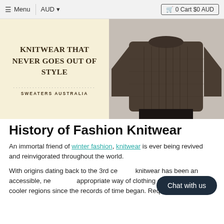≡ Menu  |  AUD ▾    🛒 0 Cart $0 AUD
[Figure (photo): Left: cream/beige banner with bold serif text 'KNITWEAR THAT NEVER GOES OUT OF STYLE' and dotted line above 'SWEATERS AUSTRALIA'. Right: back view of a man wearing a dark grey/brown cable-knit sweater.]
History of Fashion Knitwear
An immortal friend of winter fashion, knitwear is ever being revived and reinvigorated throughout the world.
With origins dating back to the 3rd ce... knitwear has been an accessible, ne... appropriate way of clothing communities in cooler regions since the records of time began. Requiring only
Chat with us